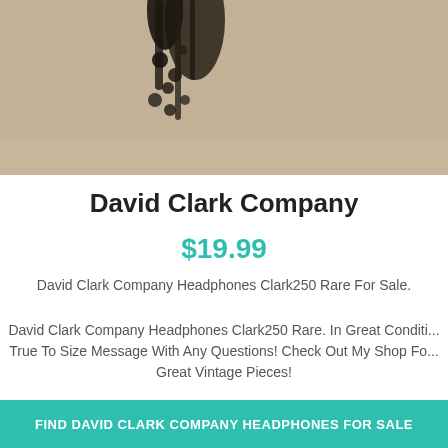[Figure (photo): Top portion of a product photo showing headphones on a textured fabric/carpet background. Only the upper portion of the image is visible, cropped at top.]
David Clark Company
$19.99
David Clark Company Headphones Clark250 Rare For Sale.
David Clark Company Headphones Clark250 Rare. In Great Conditi... True To Size Message With Any Questions! Check Out My Shop Fo... Great Vintage Pieces!
FIND DAVID CLARK COMPANY HEADPHONES FOR SALE